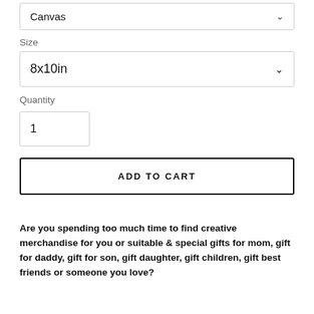[Figure (screenshot): Canvas dropdown selector showing 'Canvas' with a chevron/down arrow]
Size
[Figure (screenshot): Size dropdown selector showing '8x10in' with a chevron/down arrow]
Quantity
[Figure (screenshot): Quantity input box showing value '1']
[Figure (screenshot): ADD TO CART button]
Are you spending too much time to find creative merchandise for you or suitable & special gifts for mom, gift for daddy, gift for son, gift daughter, gift children, gift best friends or someone you love?